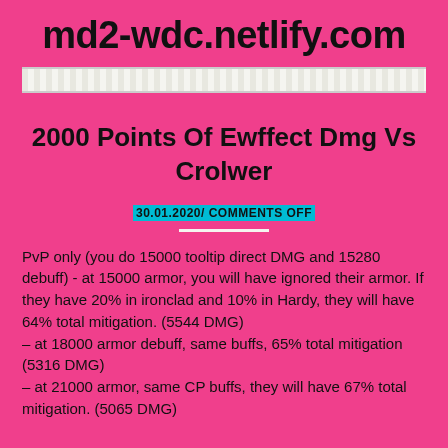md2-wdc.netlify.com
2000 Points Of Ewffect Dmg Vs Crolwer
30.01.2020/ COMMENTS OFF
PvP only (you do 15000 tooltip direct DMG and 15280 debuff) - at 15000 armor, you will have ignored their armor. If they have 20% in ironclad and 10% in Hardy, they will have 64% total mitigation. (5544 DMG)
- at 18000 armor debuff, same buffs, 65% total mitigation (5316 DMG)
- at 21000 armor, same CP buffs, they will have 67% total mitigation. (5065 DMG)